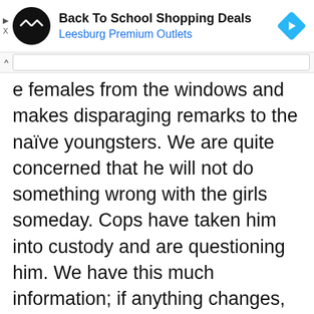[Figure (screenshot): Ad banner for 'Back To School Shopping Deals' by Leesburg Premium Outlets with circular black logo and blue diamond arrow icon]
e females from the windows and makes disparaging remarks to the naïve youngsters. We are quite concerned that he will not do something wrong with the girls someday. Cops have taken him into custody and are questioning him. We have this much information; if anything changes, we will certainly notify you. Follow this site until then.
General News